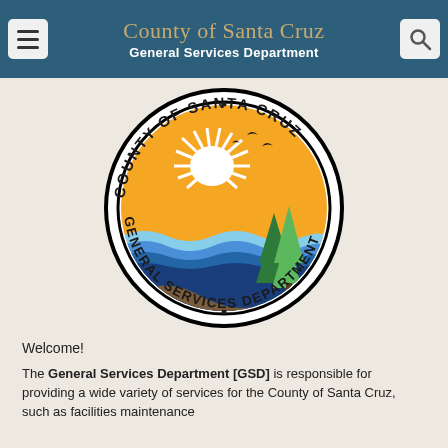County of Santa Cruz General Services Department
[Figure (logo): County of Santa Cruz General Services Department circular seal with sun, ocean waves, redwood trees, and birds]
Welcome!
The General Services Department [GSD] is responsible for providing a wide variety of services for the County of Santa Cruz, such as facilities maintenance